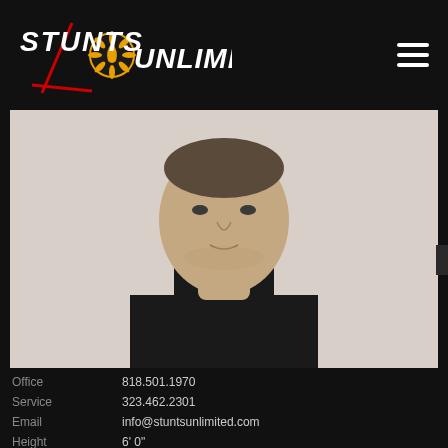[Figure (logo): Stunts Unlimited logo — stylized text with flame/sun emblem and lightning bolt, white and red on dark background]
[Figure (photo): Headshot portrait of a middle-aged man with short hair wearing a black t-shirt, photographed against a light background]
Office   818.501.1970
Service   323.462.2301
Email   info@stuntsunlimited.com
Height   6' 0"